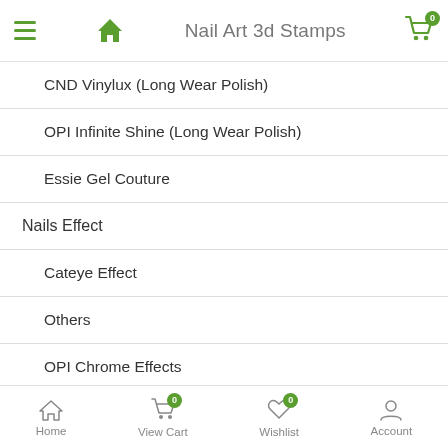Nail Art 3d Stamps
CND Vinylux (Long Wear Polish)
OPI Infinite Shine (Long Wear Polish)
Essie Gel Couture
Nails Effect
Cateye Effect
Others
OPI Chrome Effects
Gelixir Effects
Aora Chrome Effect
Cre8tion Nail Art Effect
Home | View Cart (0) | Wishlist (0) | Account